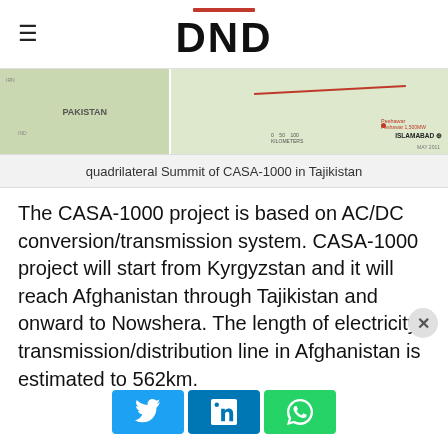DND
[Figure (map): Map showing the CASA-1000 electricity transmission route through Pakistan, with labels for Peshawar, ISLAMABAD, and a red transmission line. Scale bar shown. Dated MAY 2011.]
quadrilateral Summit of CASA-1000 in Tajikistan
The CASA-1000 project is based on AC/DC conversion/transmission system. CASA-1000 project will start from Kyrgyzstan and it will reach Afghanistan through Tajikistan and onward to Nowshera. The length of electricity transmission/distribution line in Afghanistan is estimated to 562km.